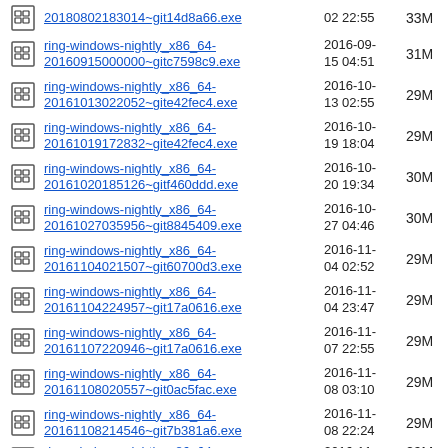20180802183014~git14d8a66.exe  02 22:55  33M
ring-windows-nightly_x86_64-20160915000000~gitc7598c9.exe  2016-09-15 04:51  31M
ring-windows-nightly_x86_64-20161013022052~gite42fec4.exe  2016-10-13 02:55  29M
ring-windows-nightly_x86_64-20161019172832~gite42fec4.exe  2016-10-19 18:04  29M
ring-windows-nightly_x86_64-20161020185126~gitf460ddd.exe  2016-10-20 19:34  30M
ring-windows-nightly_x86_64-20161027035956~git8845409.exe  2016-10-27 04:46  30M
ring-windows-nightly_x86_64-20161104021507~git60700d3.exe  2016-11-04 02:52  29M
ring-windows-nightly_x86_64-20161104224957~git17a0616.exe  2016-11-04 23:47  29M
ring-windows-nightly_x86_64-20161107220946~git17a0616.exe  2016-11-07 22:55  29M
ring-windows-nightly_x86_64-20161108020557~git0ac5fac.exe  2016-11-08 03:10  29M
ring-windows-nightly_x86_64-20161108214546~git7b381a6.exe  2016-11-08 22:24  29M
ring-windows-nightly_x86_64-20161110045956~git6f76da7.exe  2016-11-10 06:04  29M